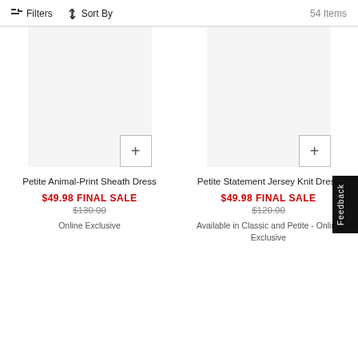Filters  Sort By  54 Items
[Figure (other): Product image placeholder for Petite Animal-Print Sheath Dress with quickview + button]
Petite Animal-Print Sheath Dress
$49.98 FINAL SALE
$130.00
Online Exclusive
[Figure (other): Product image placeholder for Petite Statement Jersey Knit Dress with quickview + button]
Petite Statement Jersey Knit Dress
$49.98 FINAL SALE
$120.00
Available in Classic and Petite - Online Exclusive